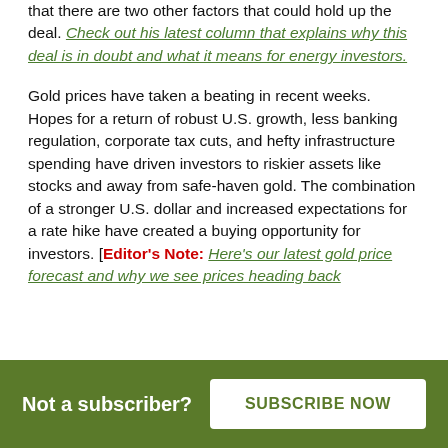that there are two other factors that could hold up the deal. Check out his latest column that explains why this deal is in doubt and what it means for energy investors.
Gold prices have taken a beating in recent weeks. Hopes for a return of robust U.S. growth, less banking regulation, corporate tax cuts, and hefty infrastructure spending have driven investors to riskier assets like stocks and away from safe-haven gold. The combination of a stronger U.S. dollar and increased expectations for a rate hike have created a buying opportunity for investors. [Editor's Note: Here's our latest gold price forecast and why we see prices heading back ...
Not a subscriber? SUBSCRIBE NOW